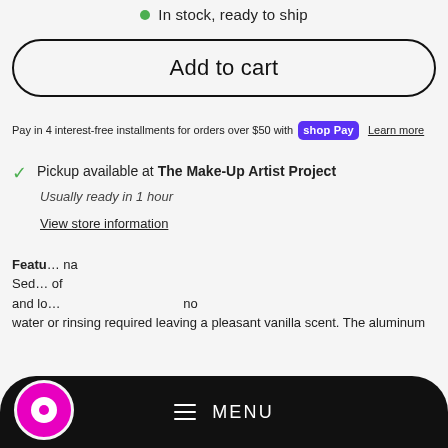In stock, ready to ship
Add to cart
Pay in 4 interest-free installments for orders over $50 with shop Pay  Learn more
Pickup available at The Make-Up Artist Project
Usually ready in 1 hour
View store information
Featu... na Sed... of and lo... no water or rinsing required leaving a pleasant vanilla scent. The aluminum
[Figure (screenshot): Bottom navigation bar with MENU label and hamburger icon, and pink chat bubble icon on the left]